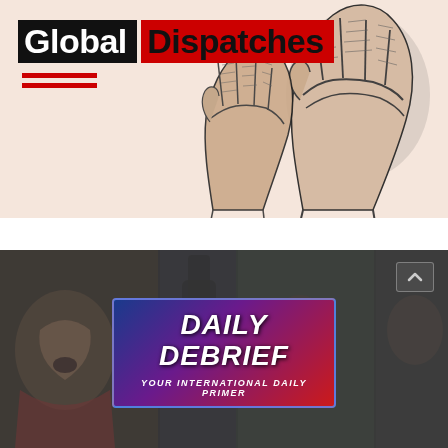[Figure (logo): Global Dispatches logo with black background for 'Global' text and red background for 'Dispatches' text, with two red horizontal lines below, and two raised fist illustrations on a beige/cream background]
[Figure (illustration): Daily Debrief video thumbnail showing a collage of protest images with 'DAILY DEBRIEF' text in italic white font on a blue-purple-red gradient background, with subtitle 'YOUR INTERNATIONAL DAILY PRIMER']